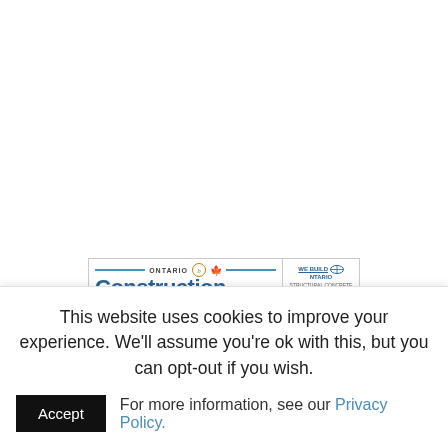[Figure (screenshot): Screenshot of Ontario Construction News website banner showing the publication logo with 'ONTARIO Construction NEWS' text, a maple leaf, and a 'WE BUILD ONTARIO' advertisement box with www.ogca.ca. Below the banner is a headline: 'CLAC program provides up to $10,000 to hire first-year apprentices' and a partial article image strip.]
This website uses cookies to improve your experience. We'll assume you're ok with this, but you can opt-out if you wish.
Accept   For more information, see our Privacy Policy.